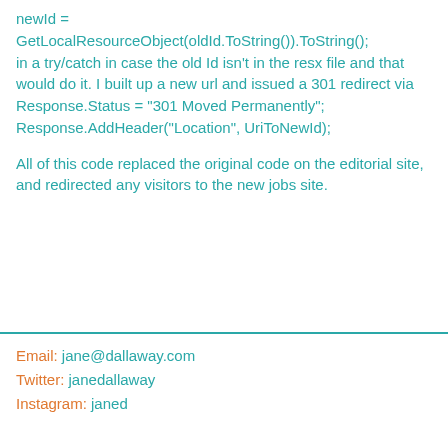newId =
GetLocalResourceObject(oldId.ToString()).ToString();
in a try/catch in case the old Id isn't in the resx file and that would do it. I built up a new url and issued a 301 redirect via
Response.Status = "301 Moved Permanently";
Response.AddHeader("Location", UriToNewId);
All of this code replaced the original code on the editorial site, and redirected any visitors to the new jobs site.
Email: jane@dallaway.com
Twitter: janedallaway
Instagram: janed